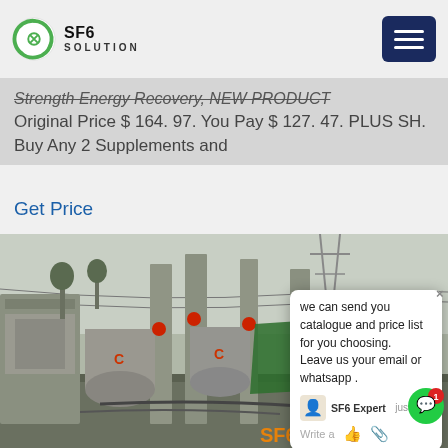SF6 SOLUTION
Strength Energy Recovery: NEW PRODUCT Original Price $ 164. 97. You Pay $ 127. 47. PLUS SH. Buy Any 2 Supplements and
Get Price
[Figure (photo): Outdoor electrical substation with SF6 gas equipment, a technician in blue coverall and red hard hat standing among large grey industrial transformers and cylindrical tanks, power lines and towers in background, blue storage cabinet visible]
we can send you catalogue and price list for you choosing. Leave us your email or whatsapp .
SF6 Expert    just now
Write a
SF6China